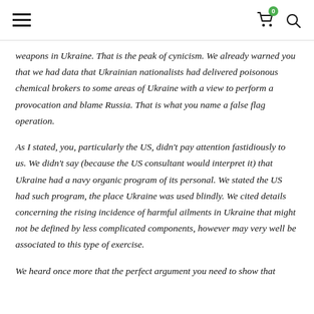Navigation header with hamburger menu, cart icon (0), and search icon
weapons in Ukraine. That is the peak of cynicism. We already warned you that we had data that Ukrainian nationalists had delivered poisonous chemical brokers to some areas of Ukraine with a view to perform a provocation and blame Russia. That is what you name a false flag operation.
As I stated, you, particularly the US, didn’t pay attention fastidiously to us. We didn’t say (because the US consultant would interpret it) that Ukraine had a navy organic program of its personal. We stated the US had such program, the place Ukraine was used blindly. We cited details concerning the rising incidence of harmful ailments in Ukraine that might not be defined by less complicated components, however may very well be associated to this type of exercise.
We heard once more that the perfect argument you need to show that